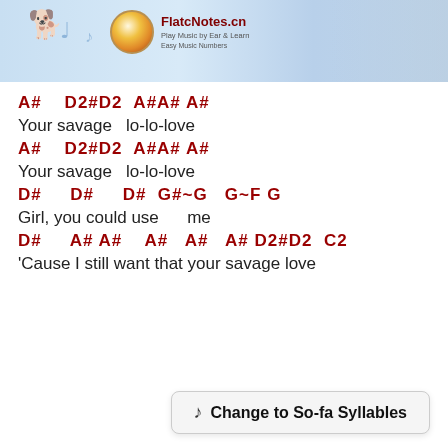[Figure (illustration): FlatcNotes website header banner with anime characters playing instruments and logo]
A#    D2#D2  A#A# A#
Your savage   lo-lo-love
A#    D2#D2  A#A# A#
Your savage   lo-lo-love
D#     D#     D#  G#~G   G~F G
Girl, you could use       me
D#     A# A#    A#   A#   A# D2#D2  C2
'Cause I still want that your savage love
♪  Change to So-fa Syllables